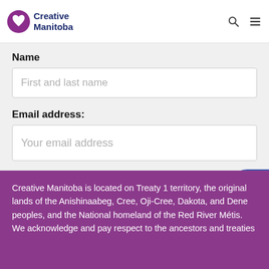Creative Manitoba
Name
First and last name
Email address:
Your email address
Sign up
Creative Manitoba is located on Treaty 1 territory, the original lands of the Anishinaabeg, Cree, Oji-Cree, Dakota, and Dene peoples, and the National homeland of the Red River Métis. We acknowledge and pay respect to the ancestors and treaties